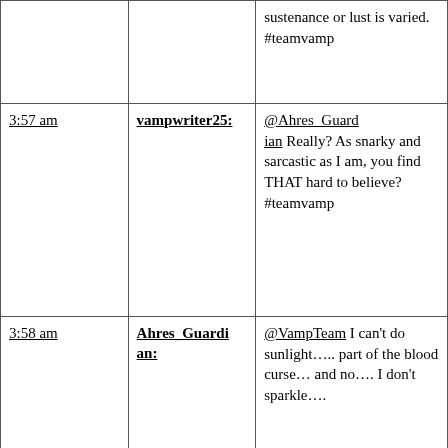| Time | User | Message |
| --- | --- | --- |
|  |  | sustenance or lust is varied. #teamvamp |
| 3:57 am | vampwriter25: | @Ahres_Guardian Really? As snarky and sarcastic as I am, you find THAT hard to believe? #teamvamp |
| 3:58 am | Ahres_Guardian: | @VampTeam I can't do sunlight….. part of the blood curse… and no…. I don't sparkle…. |